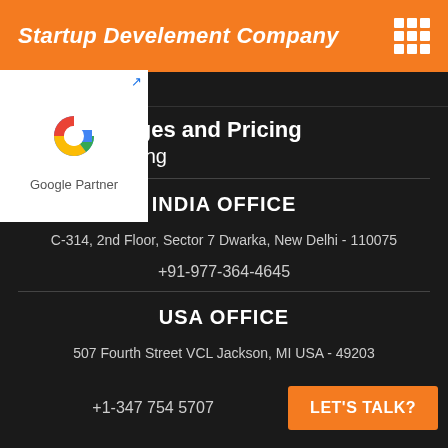Startup Develement Company
SMO Packages and Pricing
ages and Pricing
[Figure (logo): Google Partner badge with Google G logo and text 'Google Partner']
INDIA OFFICE
C-314, 2nd Floor, Sector 7 Dwarka, New Delhi - 110075
+91-977-364-4645
USA OFFICE
507 Fourth Street VCL Jackson, MI USA - 49203
+1-347 754 5707
LET'S TALK?